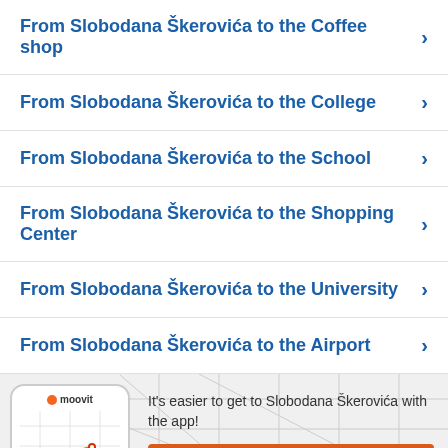From Slobodana Škerovića to the Coffee shop
From Slobodana Škerovića to the College
From Slobodana Škerovića to the School
From Slobodana Škerovića to the Shopping Center
From Slobodana Škerovića to the University
From Slobodana Škerovića to the Airport
[Figure (screenshot): Moovit app phone mockup with map and route]
It's easier to get to Slobodana Škerovića with the app!
Get the App